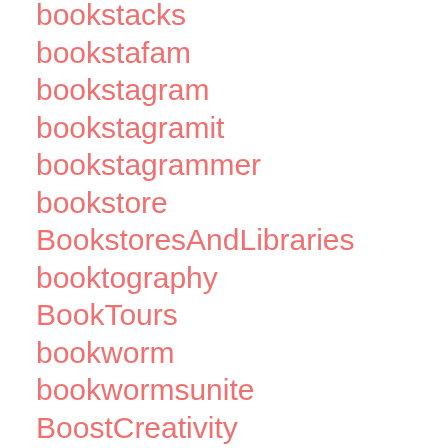bookstacks
bookstafam
bookstagram
bookstagramit
bookstagrammer
bookstore
BookstoresAndLibraries
booktography
BookTours
bookworm
bookwormsunite
BoostCreativity
Born
bostonblogger
bostonbloggers